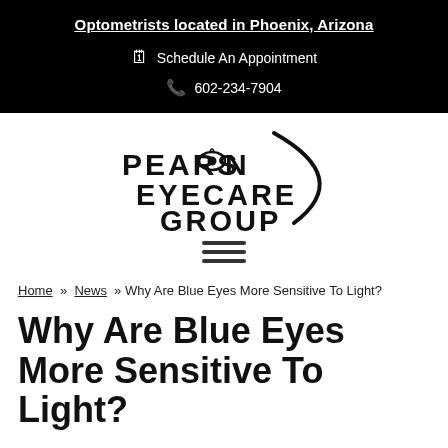Optometrists located in Phoenix, Arizona
Schedule An Appointment
602-234-7904
[Figure (logo): Pearson Eyecare Group logo with stylized eye in the letter O]
Home » News » Why Are Blue Eyes More Sensitive To Light?
Why Are Blue Eyes More Sensitive To Light?